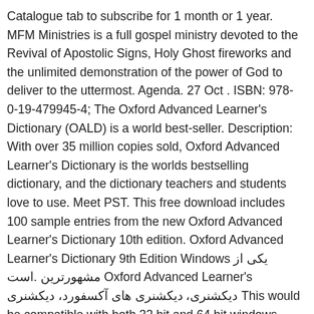Catalogue tab to subscribe for 1 month or 1 year. MFM Ministries is a full gospel ministry devoted to the Revival of Apostolic Signs, Holy Ghost fireworks and the unlimited demonstration of the power of God to deliver to the uttermost. Agenda. 27 Oct . ISBN: 978-0-19-479945-4; The Oxford Advanced Learner's Dictionary (OALD) is a world best-seller. Description: With over 35 million copies sold, Oxford Advanced Learner's Dictionary is the worlds bestselling dictionary, and the dictionary teachers and students love to use. Meet PST. This free download includes 100 sample entries from the new Oxford Advanced Learner's Dictionary 10th edition. Oxford Advanced Learner's Dictionary 9th Edition Windows یکی از مشهورترین .است Oxford Advanced Learner's دیکشنری، دیکشنری های آکسفورد، دیکشنری This would be compatible with both 32 bit and 64 bit windows. The Oxford Advanced Learner's Dictionary is the world's bestselling advanced level dictionary for learners of English. Oxford Advanced Learners Dictionary 11th Edition free download - Advanced SystemCare Free, Advanced IP Scanner,